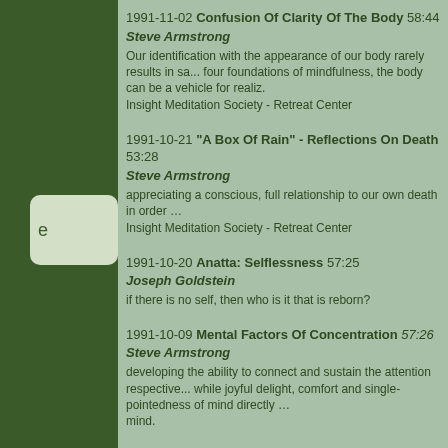1991-11-02 Confusion Of Clarity Of The Body 58:44
Steve Armstrong
Our identification with the appearance of our body rarely results in sa... four foundations of mindfulness, the body can be a vehicle for realiz...
Insight Meditation Society - Retreat Center
1991-10-21 "A Box Of Rain" - Reflections On Death 53:28
Steve Armstrong
appreciating a conscious, full relationship to our own death in order ...
Insight Meditation Society - Retreat Center
1991-10-20 Anatta: Selflessness 57:25
Joseph Goldstein
if there is no self, then who is it that is reborn?
1991-10-09 Mental Factors Of Concentration 57:26
Steve Armstrong
developing the ability to connect and sustain the attention respective... while joyful delight, comfort and single-pointedness of mind directly ... mind.